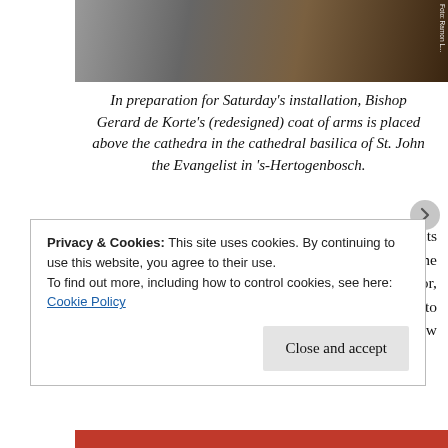[Figure (photo): Photo of workers installing Bishop Gerard de Korte's coat of arms above the cathedra in the cathedral basilica]
In preparation for Saturday's installation, Bishop Gerard de Korte's (redesigned) coat of arms is placed above the cathedra in the cathedral basilica of St. John the Evangelist in 's-Hertogenbosch.
In a couple more days, 's-Hertogenbosch will have its new bishop while Groningen-Leeuwarden will welcome its temporary diocesan administrator. This administrator, most likely vicar general Msgr. Peter Wellen, is to manage current affairs in the diocese until the new bishop arrives. The next step of the
Privacy & Cookies: This site uses cookies. By continuing to use this website, you agree to their use.
To find out more, including how to control cookies, see here: Cookie Policy
Close and accept